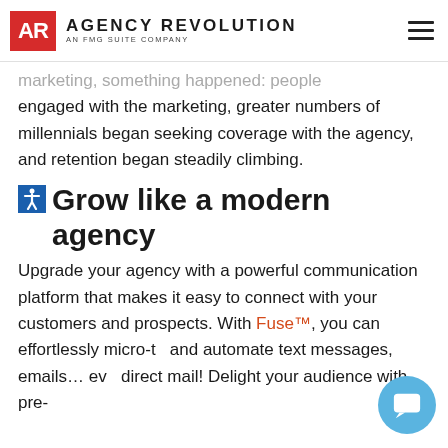AGENCY REVOLUTION — AN FMG SUITE COMPANY
marketing, something happened: people engaged with the marketing, greater numbers of millennials began seeking coverage with the agency, and retention began steadily climbing.
Grow like a modern agency
Upgrade your agency with a powerful communication platform that makes it easy to connect with your customers and prospects. With Fuse™, you can effortlessly micro-target and automate text messages, emails… even direct mail! Delight your audience with pre-